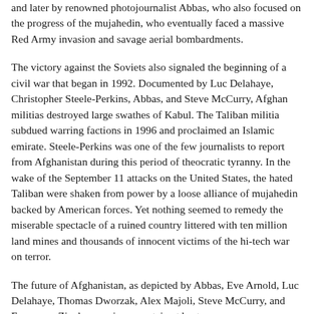and later by renowned photojournalist Abbas, who also focused on the progress of the mujahedin, who eventually faced a massive Red Army invasion and savage aerial bombardments.
The victory against the Soviets also signaled the beginning of a civil war that began in 1992. Documented by Luc Delahaye, Christopher Steele-Perkins, Abbas, and Steve McCurry, Afghan militias destroyed large swathes of Kabul. The Taliban militia subdued warring factions in 1996 and proclaimed an Islamic emirate. Steele-Perkins was one of the few journalists to report from Afghanistan during this period of theocratic tyranny. In the wake of the September 11 attacks on the United States, the hated Taliban were shaken from power by a loose alliance of mujahedin backed by American forces. Yet nothing seemed to remedy the miserable spectacle of a ruined country littered with ten million land mines and thousands of innocent victims of the hi-tech war on terror.
The future of Afghanistan, as depicted by Abbas, Eve Arnold, Luc Delahaye, Thomas Dworzak, Alex Majoli, Steve McCurry, and Francesco Zizola, remains uncertain at best.